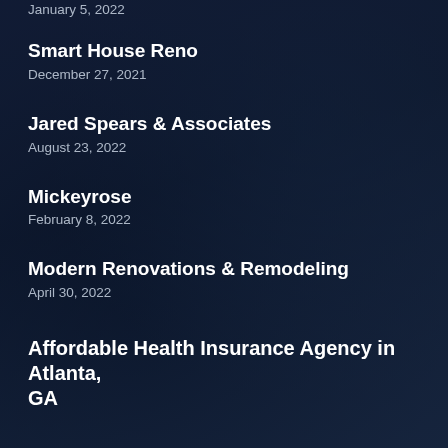January 5, 2022
Smart House Reno
December 27, 2021
Jared Spears & Associates
August 23, 2022
Mickeyrose
February 8, 2022
Modern Renovations & Remodeling
April 30, 2022
Affordable Health Insurance Agency in Atlanta, GA